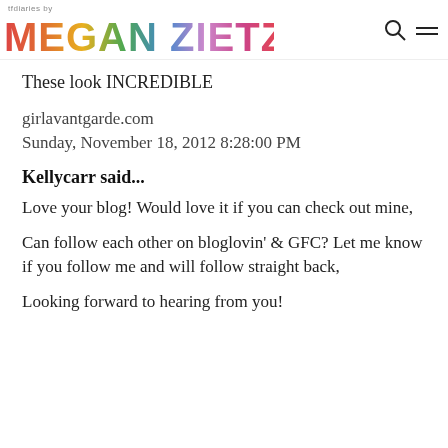tfdiaries by MEGAN ZIETZ
These look INCREDIBLE
girlavantgarde.com
Sunday, November 18, 2012 8:28:00 PM
Kellycarr said...
Love your blog! Would love it if you can check out mine,
Can follow each other on bloglovin' & GFC? Let me know if you follow me and will follow straight back,
Looking forward to hearing from you!